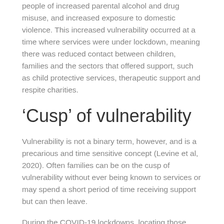people of increased parental alcohol and drug misuse, and increased exposure to domestic violence. This increased vulnerability occurred at a time where services were under lockdown, meaning there was reduced contact between children, families and the sectors that offered support, such as child protective services, therapeutic support and respite charities.
‘Cusp’ of vulnerability
Vulnerability is not a binary term, however, and is a precarious and time sensitive concept (Levine et al, 2020). Often families can be on the cusp of vulnerability without ever being known to services or may spend a short period of time receiving support but can then leave.
During the COVID-19 lockdowns, locating those vulnerable pupils and families was therefore a